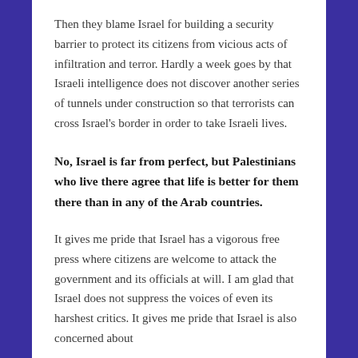Then they blame Israel for building a security barrier to protect its citizens from vicious acts of infiltration and terror. Hardly a week goes by that Israeli intelligence does not discover another series of tunnels under construction so that terrorists can cross Israel's border in order to take Israeli lives.
No, Israel is far from perfect, but Palestinians who live there agree that life is better for them there than in any of the Arab countries.
It gives me pride that Israel has a vigorous free press where citizens are welcome to attack the government and its officials at will. I am glad that Israel does not suppress the voices of even its harshest critics. It gives me pride that Israel is also concerned about...